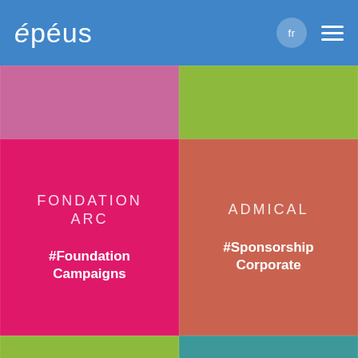épéus  fr  ☰
[Figure (other): Pink/mauve colored tile (top left), partially visible]
[Figure (other): Green colored tile (top right), partially visible]
FONDATION ARC
#Foundation Campaigns
ADMICAL
#Sponsorship Corporate
GAULT & MILLAU
FONDATION FAPE ENGIE